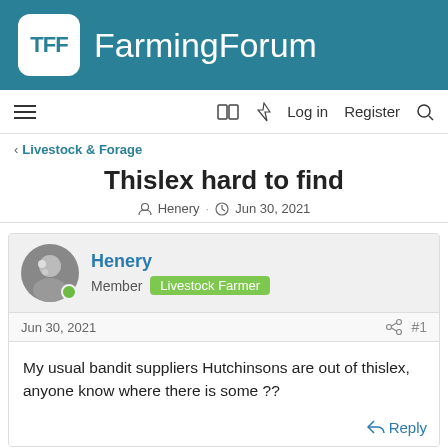TFF FarmingForum
Livestock & Forage
Thislex hard to find
Henery · Jun 30, 2021
Henery
Member  Livestock Farmer
Jun 30, 2021  #1
My usual bandit suppliers Hutchinsons are out of thislex, anyone know where there is some ??